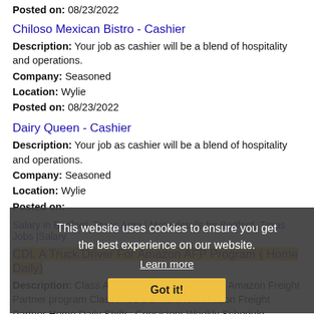Posted on: 08/23/2022
Chiloso Mexican Bistro - Cashier
Description: Your job as cashier will be a blend of hospitality and operations.
Company: Seasoned
Location: Wylie
Posted on: 08/23/2022
Dairy Queen - Cashier
Description: Your job as cashier will be a blend of hospitality and operations.
Company: Seasoned
Location: Wylie
Posted on: [partially obscured]
Salary in Bedford, Texas Area | More details for Bedford, Texas Jobs |Salary
This website uses cookies to ensure you get the best experience on our website. Learn more Got it!
CDL A Truck Driver For Amazon AFP Program ( Home Daily)
Description: Class A CDL Truck Drivers for the Amazon Freight Partner program Class A CDL Drivers for Amazon Freight Partner Home Daily Shifts: Consistent Weekly Schedule Morning